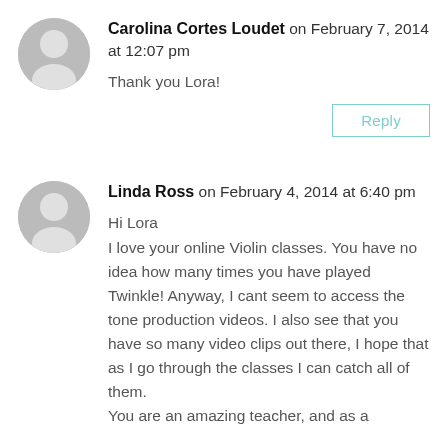Carolina Cortes Loudet on February 7, 2014 at 12:07 pm
Thank you Lora!
Reply
Linda Ross on February 4, 2014 at 6:40 pm
Hi Lora
I love your online Violin classes. You have no idea how many times you have played Twinkle! Anyway, I cant seem to access the tone production videos. I also see that you have so many video clips out there, I hope that as I go through the classes I can catch all of them.
You are an amazing teacher, and as a